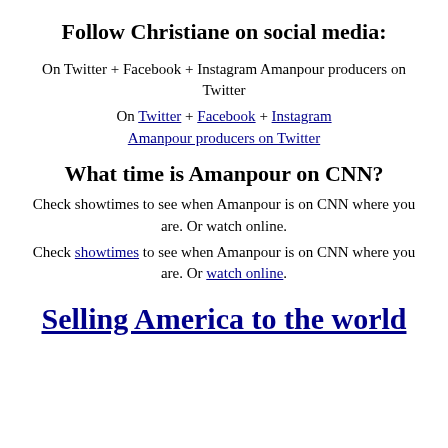Follow Christiane on social media:
On Twitter + Facebook + Instagram Amanpour producers on Twitter
On Twitter + Facebook + Instagram Amanpour producers on Twitter
What time is Amanpour on CNN?
Check showtimes to see when Amanpour is on CNN where you are. Or watch online.
Check showtimes to see when Amanpour is on CNN where you are. Or watch online.
Selling America to the world